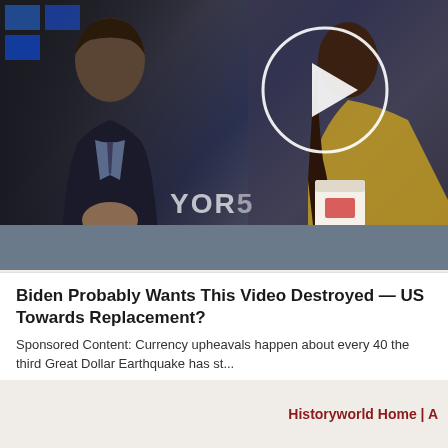[Figure (screenshot): Video thumbnail showing two people seated at a TV studio desk with a play button overlay circle. Text 'YOR' visible in background.]
Biden Probably Wants This Video Destroyed — US Towards Replacement?
Sponsored Content: Currency upheavals happen about every 40 the third Great Dollar Earthquake has st...
Watch The Video
Sponsored Ad
Historyworld Home | A